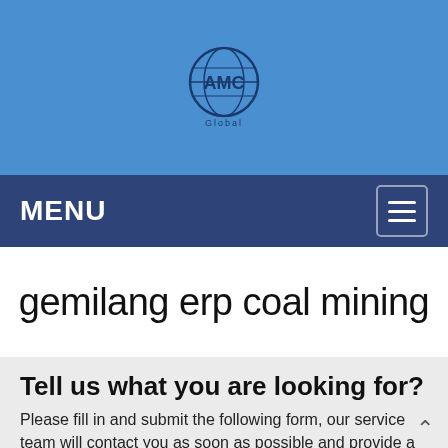[Figure (logo): AMC Global logo — globe icon with AMC text and 'Global' subtitle, centered on blue header background]
MENU
gemilang erp coal mining
Tell us what you are looking for?
Please fill in and submit the following form, our service team will contact you as soon as possible and provide a complete solution.